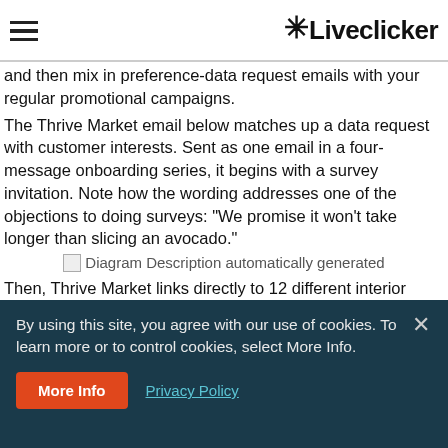Liveclicker
and then mix in preference-data request emails with your regular promotional campaigns.
The Thrive Market email below matches up a data request with customer interests. Sent as one email in a four-message onboarding series, it begins with a survey invitation. Note how the wording addresses one of the objections to doing surveys: “We promise it won’t take longer than slicing an avocado.”
[Figure (photo): Diagram Description automatically generated]
Then, Thrive Market links directly to 12 different interior sites within its website. Click data on those links reveals their interests without asking for it outright, enabling the brand to drive
By using this site, you agree with our use of cookies. To learn more or to control cookies, select More Info.